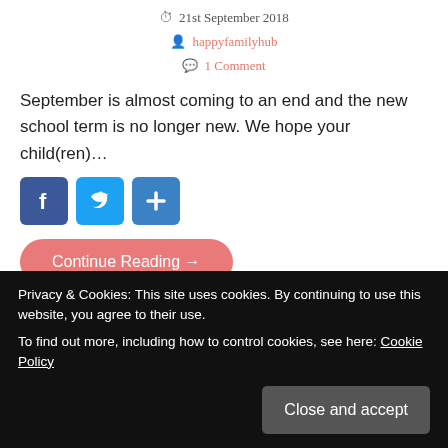21st September 2018
happyfamilyhub
1 Comment
September is almost coming to an end and the new school term is no longer new. We hope your child(ren)…
[Figure (other): Social share buttons: Facebook, Twitter, and a plus/share button]
Continue Reading →
Posted in: Arts & Crafts, Competitions, Educational Fun, Parenting &
Privacy & Cookies: This site uses cookies. By continuing to use this website, you agree to their use. To find out more, including how to control cookies, see here: Cookie Policy
Close and accept
does not envy, love does not parade it- they